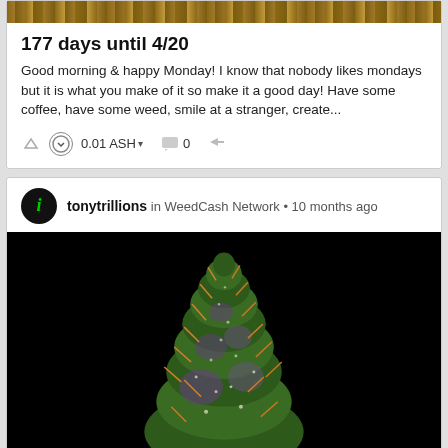[Figure (photo): Wood grain texture image banner at top of first card]
177 days until 4/20
Good morning & happy Monday! I know that nobody likes mondays but it is what you make of it so make it a good day! Have some coffee, have some weed, smile at a stranger, create...
0.01 ASH ▾  0  share
tonytrillions in WeedCash Network • 10 months ago
[Figure (photo): Close-up photo of a cannabis bud (flower) on a black background. The bud is conical/triangular shaped with green, purple, and orange hairs, covered in trichomes.]